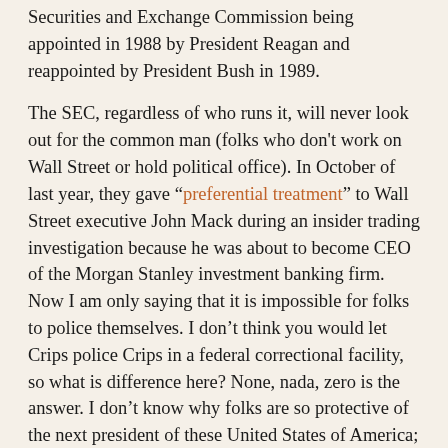Securities and Exchange Commission being appointed in 1988 by President Reagan and reappointed by President Bush in 1989.
The SEC, regardless of who runs it, will never look out for the common man (folks who don't work on Wall Street or hold political office). In October of last year, they gave "preferential treatment" to Wall Street executive John Mack during an insider trading investigation because he was about to become CEO of the Morgan Stanley investment banking firm. Now I am only saying that it is impossible for folks to police themselves. I don't think you would let Crips police Crips in a federal correctional facility, so what is difference here? None, nada, zero is the answer. I don't know why folks are so protective of the next president of these United States of America; likewise, I do not know why they are hypersensitive of folks who review and evaluate his proposed policies and his cabinet choices. It only makes logical sense to me. I remember doing the same regarding the current Bush – especially with respect to his incessant mentioning of “compassionate Conservatism.” His words, policies and appointments demonstrated neither compassion nor conservatism to me, especially with appointments of folk the likes of Dick Cheney, Don Rumsfeld and Paul Wolfowitz. No one, in particular black folks didn't say a word against my evaluative pragmatism then.